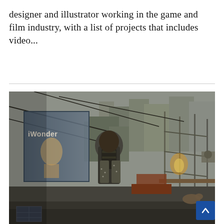designer and illustrator working in the game and film industry, with a list of projects that includes video...
[Figure (photo): A video game screenshot showing a character with a backpack viewed from behind, standing in a post-apocalyptic or dystopian urban environment. The scene includes a large advertisement billboard showing 'iWonder', industrial scaffolding, wires, and a dense cityscape in the background.]